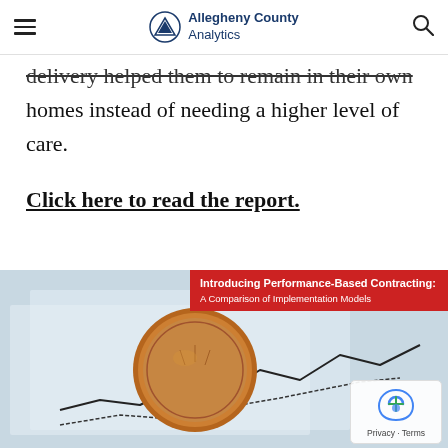Allegheny County Analytics
delivery helped them to remain in their own homes instead of needing a higher level of care.
Click here to read the report.
[Figure (photo): Photo of a copper penny coin balanced on a financial chart/graph line drawing, with a red overlay banner reading 'Introducing Performance-Based Contracting: A Comparison of Implementation Models']